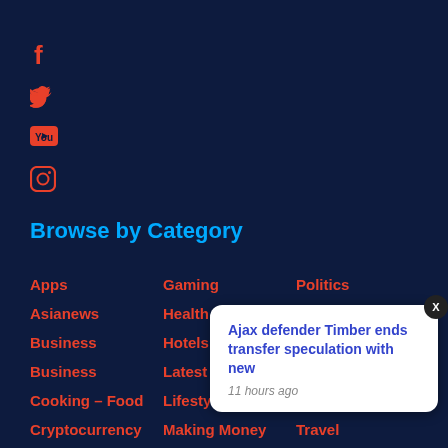[Figure (other): Social media icons: Facebook, Twitter, YouTube, Instagram in red/coral color on dark navy background]
Browse by Category
Apps
Gaming
Politics
Asianews
Health
Science
Business
Hotels
Shopping News
Business
Latest News
Sports
Cooking – Food
Lifestyle
Tech
Cryptocurrency
Making Money
Travel
Education
Entertainment
Fashion
Food
News
Ajax defender Timber ends transfer speculation with new
11 hours ago